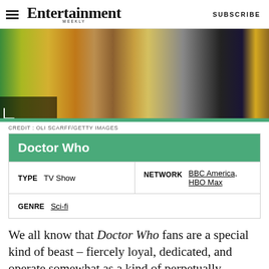Entertainment Weekly | SUBSCRIBE
[Figure (photo): A group of Doctor Who characters/actors standing in colorful costumes against a vibrant backdrop]
CREDIT: OLI SCARFF/GETTY IMAGES
| TYPE | TV Show | NETWORK | BBC America, HBO Max |
| GENRE | Sci-fi |
We all know that Doctor Who fans are a special kind of beast – fiercely loyal, dedicated, and operate somewhat as a kind of perpetually